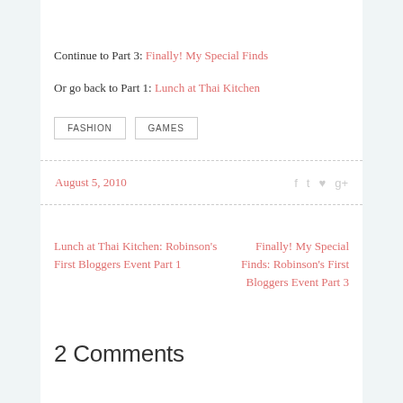Continue to Part 3: Finally! My Special Finds
Or go back to Part 1: Lunch at Thai Kitchen
FASHION   GAMES
August 5, 2010
Lunch at Thai Kitchen: Robinson's First Bloggers Event Part 1
Finally! My Special Finds: Robinson's First Bloggers Event Part 3
2 Comments